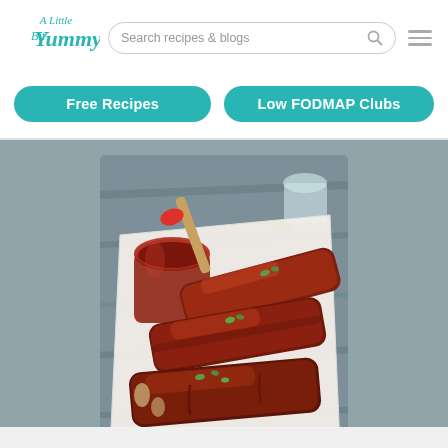[Figure (logo): A Little Bit Yummy logo in teal cursive font]
Search recipes & blogs
[Figure (screenshot): Navigation buttons: Free Recipes and Low FODMAP Clubs in teal rounded rectangle buttons]
[Figure (photo): BBQ glazed pork ribs on white parchment paper with a jar of BBQ sauce with a red basting brush, garnished with fresh herbs, on a gray wooden surface]